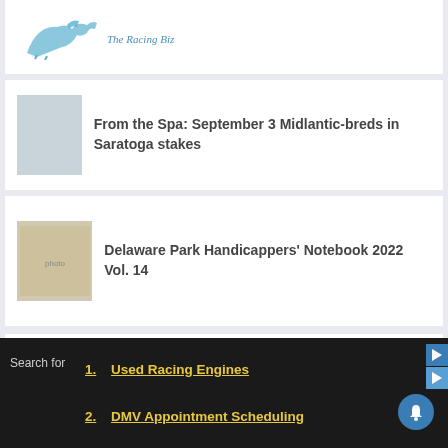[Figure (logo): The Racing Biz logo with horse silhouette and italic text]
From the Spa: September 3 Midlantic-breds in Saratoga stakes
Delaware Park Handicappers' Notebook 2022 Vol. 14
[Figure (illustration): Advertisement with text Bigger and better]
Search for
1. Used Racing Engines
2. DMV Appointment Scheduling